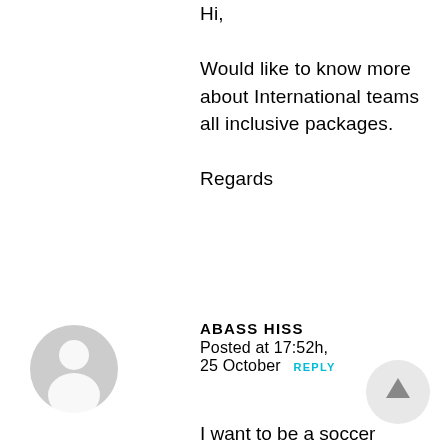Hi,

Would like to know more about International teams all inclusive packages.

Regards
ABASS HISS
Posted at 17:52h, 25 October REPLY
I want to be a soccer player that